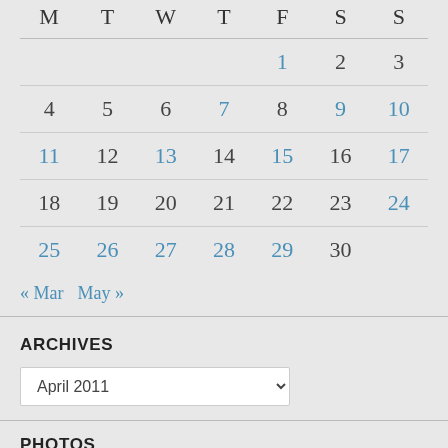| M | T | W | T | F | S | S |
| --- | --- | --- | --- | --- | --- | --- |
|  |  |  |  | 1 | 2 | 3 |
| 4 | 5 | 6 | 7 | 8 | 9 | 10 |
| 11 | 12 | 13 | 14 | 15 | 16 | 17 |
| 18 | 19 | 20 | 21 | 22 | 23 | 24 |
| 25 | 26 | 27 | 28 | 29 | 30 |  |
« Mar   May »
ARCHIVES
April 2011
PHOTOS